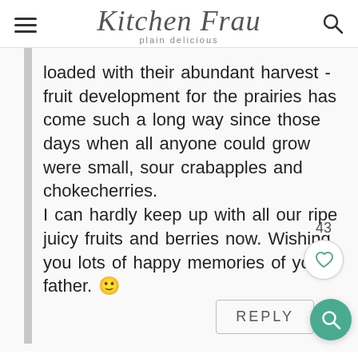Kitchen Frau — plain delicious
loaded with their abundant harvest - fruit development for the prairies has come such a long way since those days when all anyone could grow were small, sour crabapples and chokecherries.
I can hardly keep up with all our ripe juicy fruits and berries now. Wishing you lots of happy memories of your father. 🙂